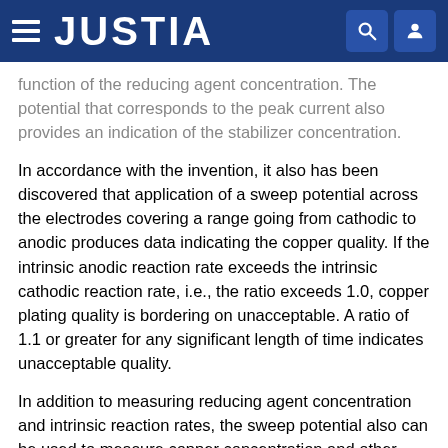JUSTIA
function of the reducing agent concentration. The potential that corresponds to the peak current also provides an indication of the stabilizer concentration.
In accordance with the invention, it also has been discovered that application of a sweep potential across the electrodes covering a range going from cathodic to anodic produces data indicating the copper quality. If the intrinsic anodic reaction rate exceeds the intrinsic cathodic reaction rate, i.e., the ratio exceeds 1.0, copper plating quality is bordering on unacceptable. A ratio of 1.1 or greater for any significant length of time indicates unacceptable quality.
In addition to measuring reducing agent concentration and intrinsic reaction rates, the sweep potential also can be used to measure copper concentration and other